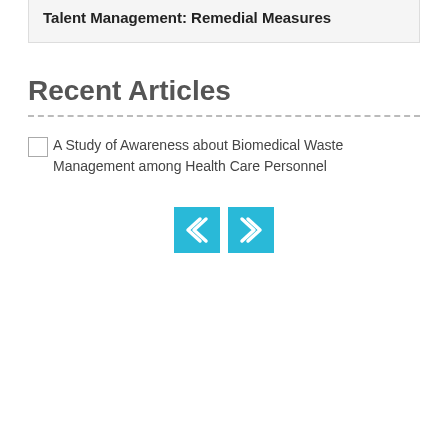Talent Management: Remedial Measures
Recent Articles
A Study of Awareness about Biomedical Waste Management among Health Care Personnel